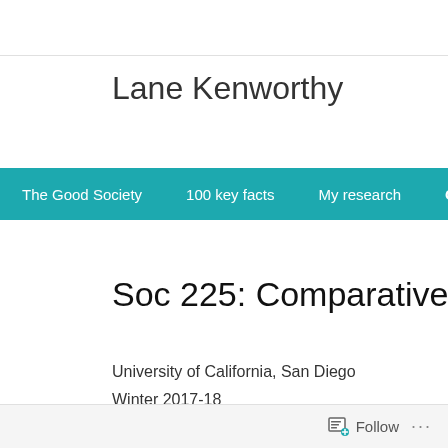Lane Kenworthy
The Good Society | 100 key facts | My research | Courses | M
Soc 225: Comparative Political Econo
University of California, San Diego
Winter 2017-18
SSB 101, M 9:00-11:50
Follow ...